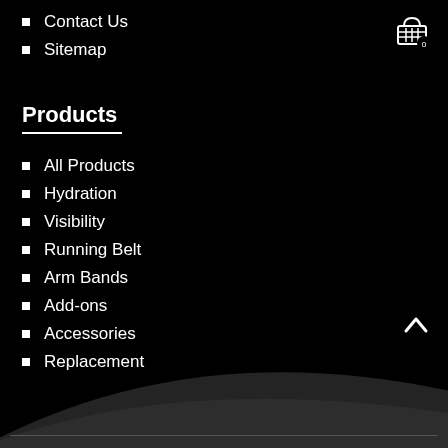Contact Us
Sitemap
Products
All Products
Hydration
Visibility
Running Belt
Arm Bands
Add-ons
Accessories
Replacement